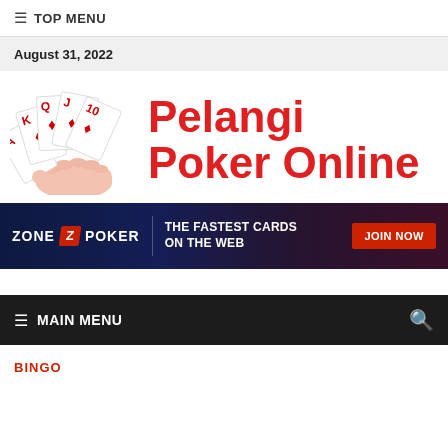≡ TOP MENU
August 31, 2022
[Figure (logo): Pelangi Poker Online logo with a hand holding playing cards on the left and red text 'Pelangi Poker Online' on the right]
[Figure (infographic): Zone Poker advertisement banner: dark blue/purple background, Zone Z Poker logo on left, 'THE FASTEST CARDS ON THE WEB' tagline in center, red 'JOIN NOW' button on right]
≡ MAIN MENU
BINGO